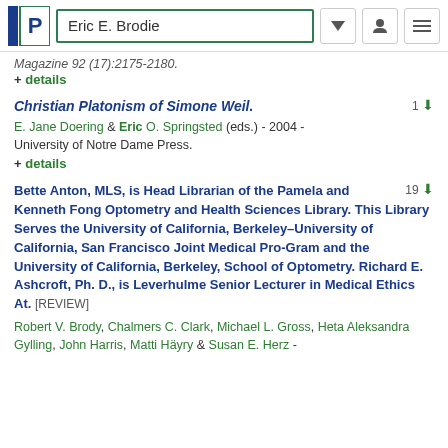Eric E. Brodie
Magazine 92 (17):2175-2180.
+ details
Christian Platonism of Simone Weil.
E. Jane Doering & Eric O. Springsted (eds.) - 2004 - University of Notre Dame Press.
+ details
Bette Anton, MLS, is Head Librarian of the Pamela and Kenneth Fong Optometry and Health Sciences Library. This Library Serves the University of California, Berkeley–University of California, San Francisco Joint Medical Pro-Gram and the University of California, Berkeley, School of Optometry. Richard E. Ashcroft, Ph. D., is Leverhulme Senior Lecturer in Medical Ethics At. [REVIEW]
Robert V. Brody, Chalmers C. Clark, Michael L. Gross, Heta Aleksandra Gylling, John Harris, Matti Häyry & Susan E. Herz -